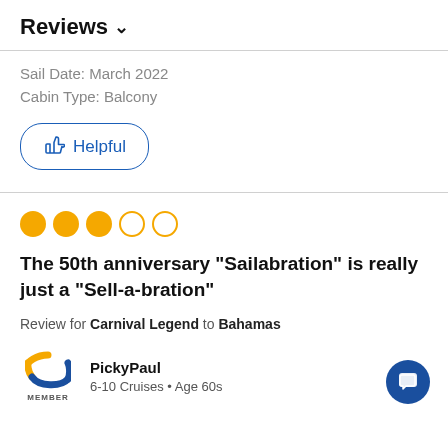Reviews ∨
Sail Date: March 2022
Cabin Type: Balcony
[Figure (other): Helpful button with thumbs-up icon and blue border]
[Figure (other): 3 out of 5 stars rating shown as filled and empty orange circles]
The 50th anniversary "Sailabration" is really just a "Sell-a-bration"
Review for Carnival Legend to Bahamas
[Figure (logo): Carnival cruise line member logo — orange and blue C arc shape with MEMBER label]
PickyPaul
6-10 Cruises • Age 60s